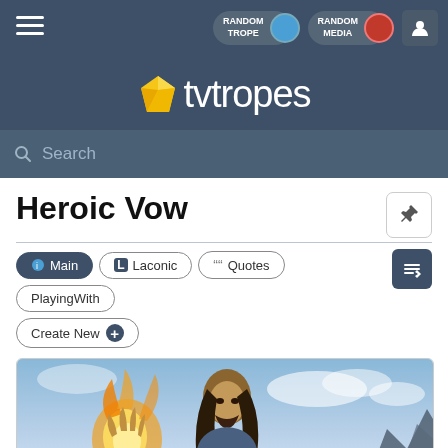TV Tropes — Random Trope | Random Media | User
[Figure (screenshot): TV Tropes website header with logo, navigation buttons (Random Trope, Random Media), user icon, and search bar]
Heroic Vow
Main | Laconic | Quotes | PlayingWith | Create New
[Figure (illustration): Fantasy warrior with glowing golden hand and long dark hair against a sky background — artwork for the Heroic Vow trope page]